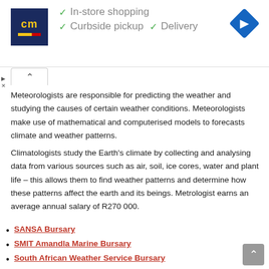[Figure (screenshot): Advertisement banner showing a store logo (cm) with checkmarks for In-store shopping, Curbside pickup, and Delivery, plus a navigation arrow icon on the right.]
Meteorologists are responsible for predicting the weather and studying the causes of certain weather conditions. Meteorologists make use of mathematical and computerised models to forecasts climate and weather patterns.
Climatologists study the Earth's climate by collecting and analysing data from various sources such as air, soil, ice cores, water and plant life – this allows them to find weather patterns and determine how these patterns affect the earth and its beings. Metrologist earns an average annual salary of R270 000.
SANSA Bursary
SMIT Amandla Marine Bursary
South African Weather Service Bursary